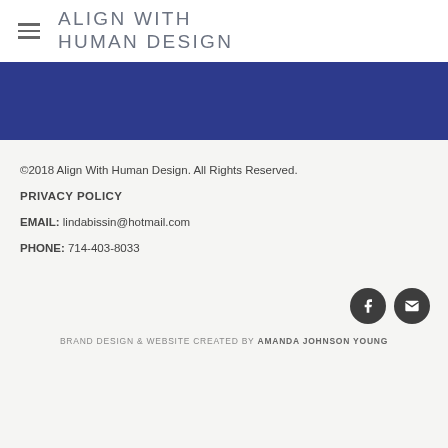ALIGN WITH HUMAN DESIGN
[Figure (other): Dark blue decorative band/hero image area]
©2018 Align With Human Design. All Rights Reserved.
PRIVACY POLICY
EMAIL: lindabissin@hotmail.com
PHONE: 714-403-8033
[Figure (other): Facebook and email social media icon buttons]
BRAND DESIGN & WEBSITE CREATED BY AMANDA JOHNSON YOUNG